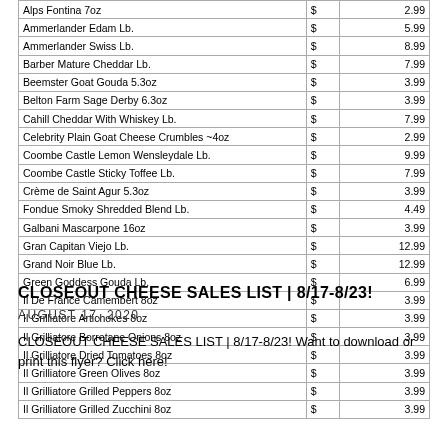| Item | $ | Price |
| --- | --- | --- |
| Alps Fontina 7oz | $ | 2.99 |
| Ammerlander Edam Lb. | $ | 5.99 |
| Ammerlander Swiss Lb. | $ | 8.99 |
| Barber Mature Cheddar Lb. | $ | 7.99 |
| Beemster Goat Gouda 5.3oz | $ | 3.99 |
| Belton Farm Sage Derby  6.3oz | $ | 3.99 |
| Cahill Cheddar With Whiskey Lb. | $ | 7.99 |
| Celebrity Plain Goat Cheese Crumbles ~4oz | $ | 2.99 |
| Coombe Castle Lemon Wensleydale Lb. | $ | 9.99 |
| Coombe Castle Sticky Toffee Lb. | $ | 7.99 |
| Crème de Saint Agur 5.3oz | $ | 3.99 |
| Fondue Smoky Shredded Blend Lb. | $ | 4.49 |
| Galbani Mascarpone 16oz | $ | 3.99 |
| Gran Capitan Viejo  Lb. | $ | 12.99 |
| Grand Noir Blue Lb. | $ | 12.99 |
| Green Goddess Gouda Lb. | $ | 6.99 |
| Il De France Camembert 8oz | $ | 3.99 |
| Il Grilliatore Artichokes 8oz | $ | 3.99 |
| Il Grilliatore Borretane Onions 8oz | $ | 3.99 |
| Il Grilliatore Dried Tomatoes 8oz | $ | 3.99 |
| Il Grilliatore Green Olives 8oz | $ | 3.99 |
| Il Grilliatore Grilled Peppers 8oz | $ | 3.99 |
| Il Grilliatore Grilled Zucchini  8oz | $ | 3.99 |
CLOSEOUT CHEESE SALES LIST | 8/17-8/23!
AUGUST 17, 2020
CLOSEOUT CHEESE SALES LIST | 8/17-8/23! Want to download or print this flyer? Click here!